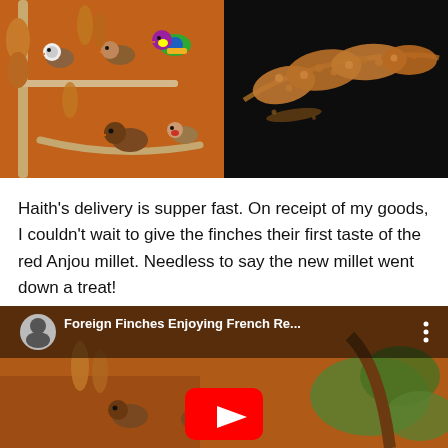[Figure (photo): Two-panel image: left panel shows several finches (including Gouldian finches and zebra finches) sitting on branches and millet sprays against an orange background. Right panel shows a close-up of a red millet spray on a dark/black background.]
Haith's delivery is supper fast. On receipt of my goods, I couldn't wait to give the finches their first taste of the red Anjou millet. Needless to say the new millet went down a treat!
[Figure (screenshot): YouTube video thumbnail showing finches on perches and a branch with green leaves against orange background. Video title reads 'Foreign Finches Enjoying French Re...' with a channel avatar showing a person's face and three-dot menu icon. A YouTube play button (red rectangle with white triangle) is visible in the lower center.]